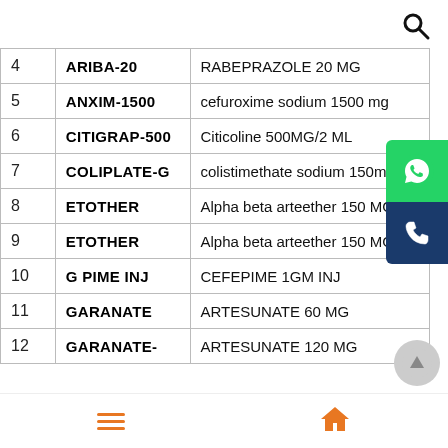| # | Brand Name | Generic Name |
| --- | --- | --- |
| 4 | ARIBA-20 | RABEPRAZOLE 20 MG |
| 5 | ANXIM-1500 | cefuroxime sodium 1500 mg |
| 6 | CITIGRAP-500 | Citicoline 500MG/2 ML |
| 7 | COLIPLATE-G | colistimethate sodium 150mg |
| 8 | ETOTHER | Alpha beta arteether 150 MG/2m |
| 9 | ETOTHER | Alpha beta arteether 150 MG/1m |
| 10 | G PIME INJ | CEFEPIME 1GM INJ |
| 11 | GARANATE | ARTESUNATE 60 MG |
| 12 | GARANATE- | ARTESUNATE 120 MG |
[Figure (other): WhatsApp contact button (green)]
[Figure (other): Phone contact button (dark blue)]
[Figure (other): Scroll-to-top circular button (grey)]
Menu icon (hamburger) and Home icon navigation bar at bottom